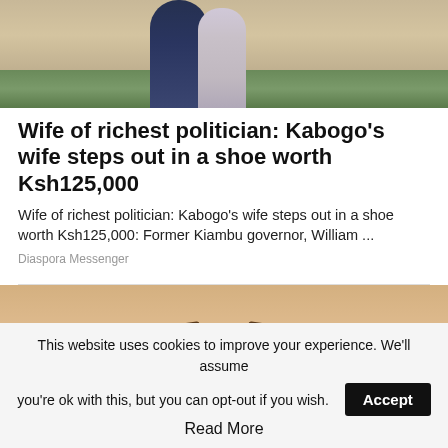[Figure (photo): A couple standing outdoors in front of a stone wall, man in blue trousers and woman in floral dress]
Wife of richest politician: Kabogo's wife steps out in a shoe worth Ksh125,000
Wife of richest politician: Kabogo's wife steps out in a shoe worth Ksh125,000: Former Kiambu governor, William ...
Diaspora Messenger
[Figure (photo): Close-up of a blonde woman's face looking upward, eyes visible]
This website uses cookies to improve your experience. We'll assume you're ok with this, but you can opt-out if you wish.
Read More